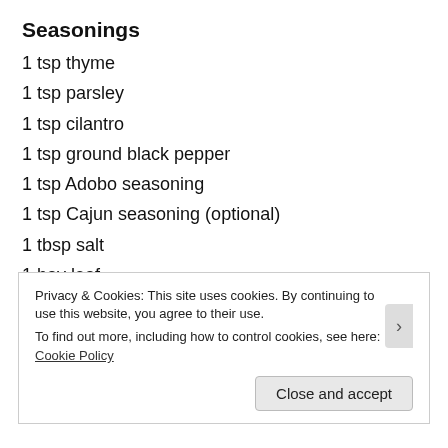Seasonings
1 tsp thyme
1 tsp parsley
1 tsp cilantro
1 tsp ground black pepper
1 tsp Adobo seasoning
1 tsp Cajun seasoning (optional)
1 tbsp salt
1 bay leaf
1 6 oz can tomato paste
4 slices of lemon (seeds removed)
½ jalapeno pepper diced
Privacy & Cookies: This site uses cookies. By continuing to use this website, you agree to their use. To find out more, including how to control cookies, see here: Cookie Policy